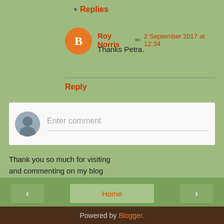Replies
Roy Norris  2 September 2017 at 12:34
Thanks Petra.
Reply
Enter comment
Thank you so much for visiting and commenting on my blog
Home
View web version
Powered by Blogger.